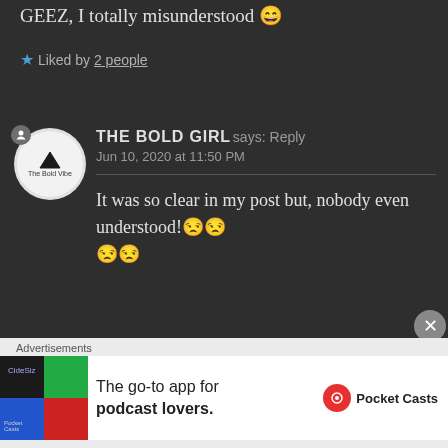GEEZ, I totally misunderstood 😄
★ Liked by 2 people
THE BOLD GIRL says: Reply
Jun 10, 2020 at 11:50 PM
It was so clear in my post but, nobody even understood!😒😒
😒😒
★ Liked by 1 person
[Figure (other): Pocket Casts advertisement banner: 'The go-to app for podcast lovers.']